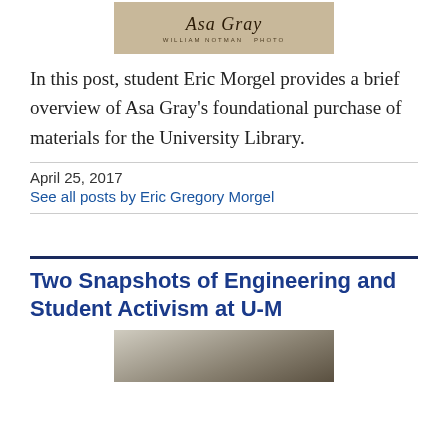[Figure (photo): Asa Gray signature photo with 'William Notman Photo' credit text on aged background]
In this post, student Eric Morgel provides a brief overview of Asa Gray's foundational purchase of materials for the University Library.
April 25, 2017
See all posts by Eric Gregory Morgel
Two Snapshots of Engineering and Student Activism at U-M
[Figure (photo): Black and white photograph of a building, partially visible at bottom of page]